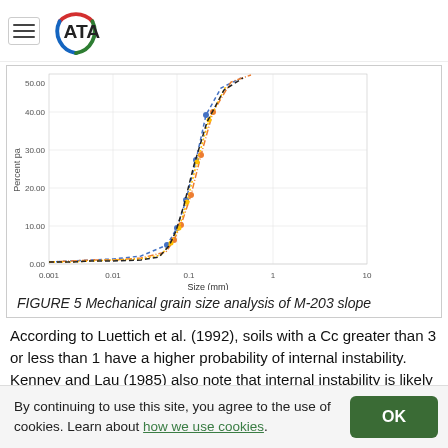ATA
[Figure (continuous-plot): Mechanical grain size analysis of M-203 slope. Scatter/line plot with multiple series showing percent passing vs. size (mm) on a logarithmic x-axis. X-axis ranges from 0.001 to 10 mm, Y-axis ranges from 0.00 to 50.00 percent passing. Multiple colored dashed/dotted lines rising steeply around 0.1 mm.]
FIGURE 5 Mechanical grain size analysis of M-203 slope
According to Luettich et al. (1992), soils with a Cc greater than 3 or less than 1 have a higher probability of internal instability. Kenney and Lau (1985) also note that internal instability is likely to occur in soils that have gently inclined
By continuing to use this site, you agree to the use of cookies. Learn about how we use cookies.